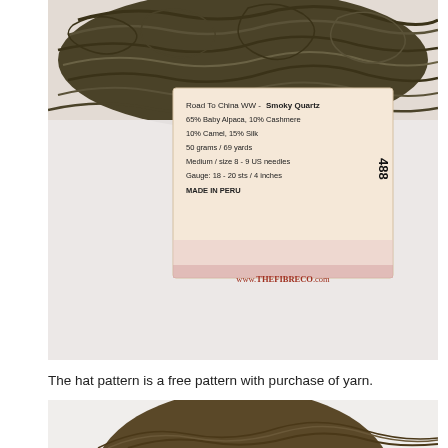[Figure (photo): Photo of dark olive/brown twisted yarn skein resting on a white fluffy surface. A product label card is visible showing: 'Road To China WW - Smoky Quartz, 65% Baby Alpaca, 10% Cashmere, 10% Camel, 15% Silk, 50 grams / 69 yards, Medium / size 8 - 9 US needles, Gauge: 18 - 20 sts / 4 inches, MADE IN PERU, www.THEFIBRECCO.com'. Lot number 488 printed vertically on the right side of the label.]
The hat pattern is a free pattern with purchase of yarn.
[Figure (photo): Partial photo of a dark brown/olive knitted hat, showing the top crown portion against a white background.]